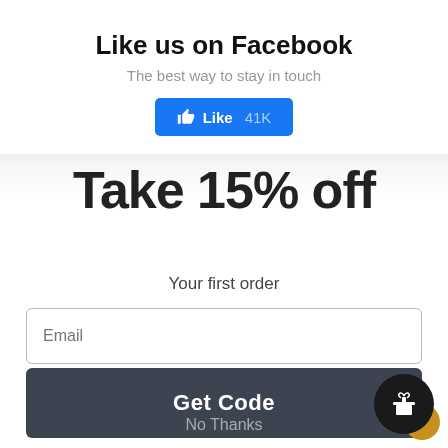✕
Like us on Facebook
The best way to stay in touch
[Figure (other): Blue Facebook Like button with thumbs up icon showing 'Like 41K']
Take 15% off
Your first order
Email
Get Code
No Thanks